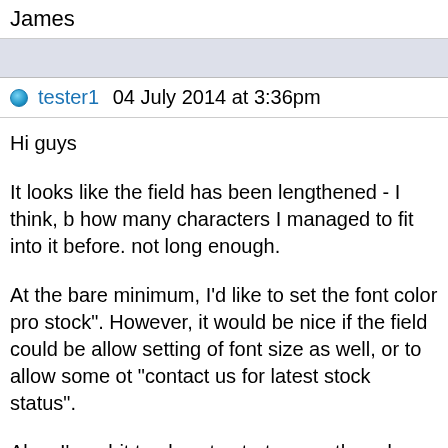James
tester1 04 July 2014 at 3:36pm
Hi guys
It looks like the field has been lengthened - I think, b how many characters I managed to fit into it before. not long enough.
At the bare minimum, I'd like to set the font color pro stock". However, it would be nice if the field could be allow setting of font size as well, or to allow some ot "contact us for latest stock status".
Also, I'm a bit too lazy to start a new thread so I'll sa and age of so many etailers having products drop-sh